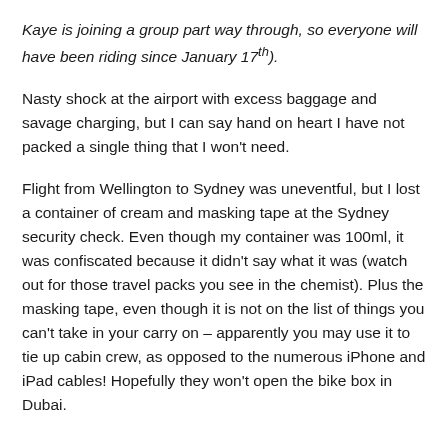Kaye is joining a group part way through, so everyone will have been riding since January 17th).
Nasty shock at the airport with excess baggage and savage charging, but I can say hand on heart I have not packed a single thing that I won't need.
Flight from Wellington to Sydney was uneventful, but I lost a container of cream and masking tape at the Sydney security check. Even though my container was 100ml, it was confiscated because it didn't say what it was (watch out for those travel packs you see in the chemist). Plus the masking tape, even though it is not on the list of things you can't take in your carry on – apparently you may use it to tie up cabin crew, as opposed to the numerous iPhone and iPad cables! Hopefully they won't open the bike box in Dubai.